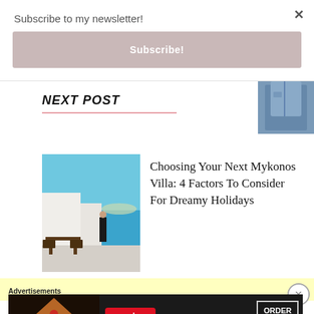Subscribe to my newsletter!
Subscribe!
NEXT POST
[Figure (photo): Person in denim jacket, cropped upper body shot]
[Figure (photo): Mykonos seaside scene with woman in black dress and outdoor furniture]
Choosing Your Next Mykonos Villa: 4 Factors To Consider For Dreamy Holidays
[Figure (screenshot): Yellow advertisement banner placeholder]
Advertisements
[Figure (screenshot): Seamless food delivery advertisement banner with pizza image and ORDER NOW button]